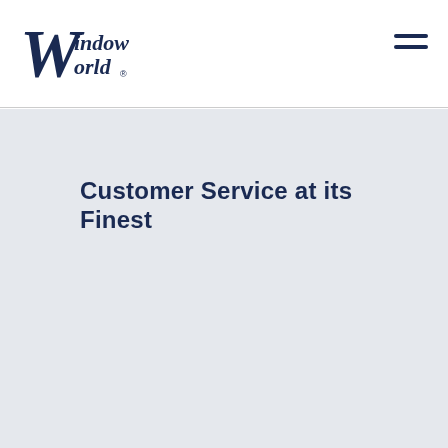[Figure (logo): Window World logo — stylized cursive W with 'indow' and 'orld' text in dark navy blue]
Customer Service at its Finest